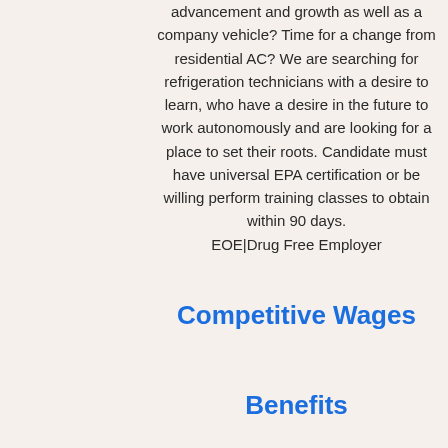advancement and growth as well as a company vehicle? Time for a change from residential AC? We are searching for refrigeration technicians with a desire to learn, who have a desire in the future to work autonomously and are looking for a place to set their roots. Candidate must have universal EPA certification or be willing perform training classes to obtain within 90 days. EOE|Drug Free Employer
Competitive Wages
Benefits